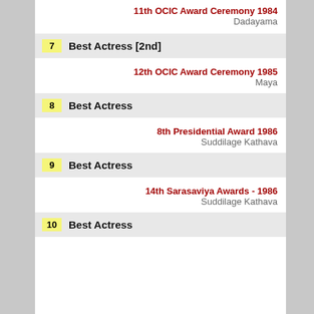11th OCIC Award Ceremony 1984
Dadayama
7 Best Actress [2nd]
12th OCIC Award Ceremony 1985
Maya
8 Best Actress
8th Presidential Award 1986
Suddilage Kathava
9 Best Actress
14th Sarasaviya Awards - 1986
Suddilage Kathava
10 Best Actress